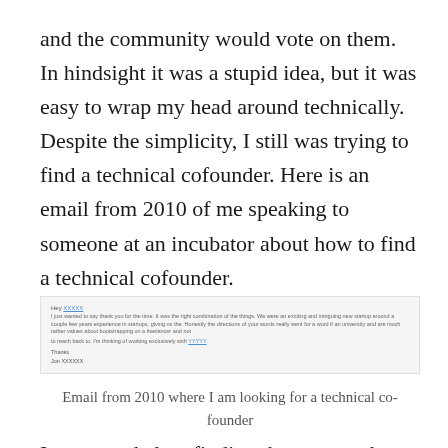and the community would vote on them. In hindsight it was a stupid idea, but it was easy to wrap my head around technically. Despite the simplicity, I still was trying to find a technical cofounder. Here is an email from 2010 of me speaking to someone at an incubator about how to find a technical cofounder.
[Figure (screenshot): A screenshot of an email from 2010 showing blurred/small text discussing looking for a technical co-founder, with a link visible.]
Email from 2010 where I am looking for a technical co-founder
I never ended up finding that person, but instead, I